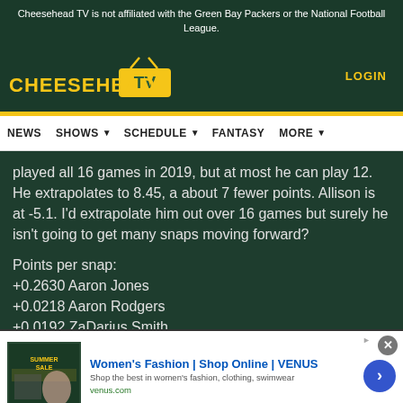Cheesehead TV is not affiliated with the Green Bay Packers or the National Football League.
[Figure (logo): Cheesehead TV logo with yellow text and TV icon]
LOGIN
NEWS  SHOWS  SCHEDULE  FANTASY  MORE
played all 16 games in 2019, but at most he can play 12. He extrapolates to 8.45, a about 7 fewer points. Allison is at -5.1. I'd extrapolate him out over 16 games but surely he isn't going to get many snaps moving forward?
Points per snap:
+0.2630 Aaron Jones
+0.0218 Aaron Rodgers
+0.0192 ZaDarius Smith
[Figure (other): Advertisement banner: Women's Fashion | Shop Online | VENUS. Shop the best in women's fashion, clothing, swimwear. venus.com]